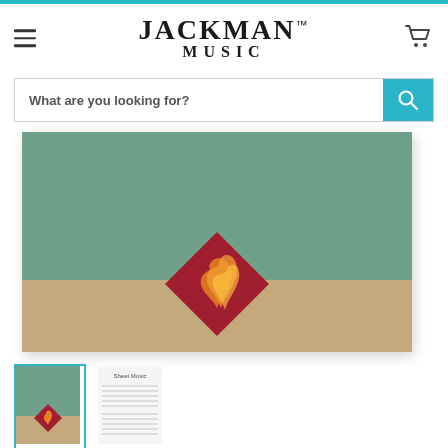JACKMAN™ MUSIC
What are you looking for?
[Figure (illustration): Product cover image with teal/sage green upper half and tan/beige lower half, featuring a red diamond-shaped logo with stylized flame design in the center]
[Figure (photo): Thumbnail 1: small version of the product cover (active/selected, teal border)]
[Figure (photo): Thumbnail 2: sheet music interior page thumbnail]